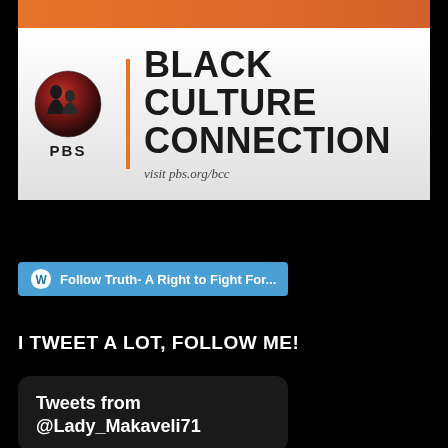[Figure (logo): PBS Black Culture Connection banner with PBS logo (globe icon), orange vertical divider, and text 'BLACK CULTURE CONNECTION' with 'visit pbs.org/bcc' below]
[Figure (screenshot): WordPress follow button: 'Follow Truth- A Right to Fight For...' with WordPress icon on blue/cyan background]
I TWEET A LOT, FOLLOW ME!
Tweets from @Lady_Makaveli71